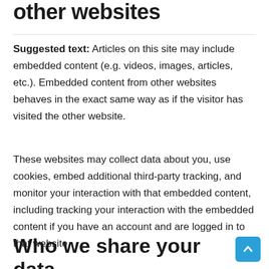other websites
Suggested text: Articles on this site may include embedded content (e.g. videos, images, articles, etc.). Embedded content from other websites behaves in the exact same way as if the visitor has visited the other website.
These websites may collect data about you, use cookies, embed additional third-party tracking, and monitor your interaction with that embedded content, including tracking your interaction with the embedded content if you have an account and are logged in to that website.
Who we share your data